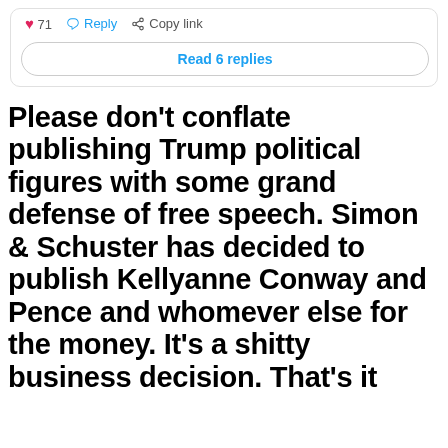[Figure (screenshot): Top portion of a social media post UI showing heart icon with count 71, Reply button, Copy link button, and a 'Read 6 replies' button]
Please don't conflate publishing Trump political figures with some grand defense of free speech. Simon & Schuster has decided to publish Kellyanne Conway and Pence and whomever else for the money. It's a shitty business decision. That's it